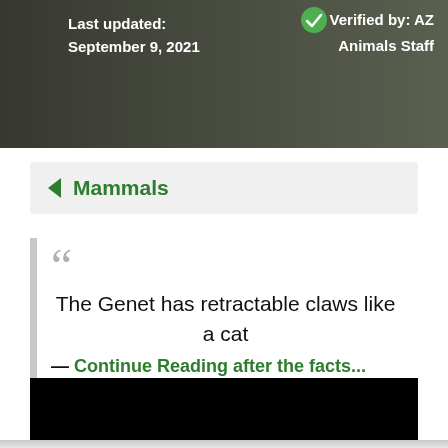[Figure (photo): Dark background animal photo (genet) with text overlaid]
Last updated: September 9, 2021
Verified by: AZ Animals Staff
◄ Mammals
The Genet has retractable claws like a cat
— Continue Reading after the facts...
[Figure (screenshot): Black video embed area]
[Figure (photo): Gray/light area at bottom of page]